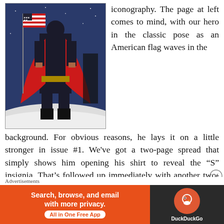[Figure (illustration): Comic book illustration of a superhero (Superman-like figure) in a classic pose with a red cape, standing in front of an American flag on what appears to be a moon or snowy surface, with a starry blue background.]
iconography. The page at left comes to mind, with our hero in the classic pose as an American flag waves in the background. For obvious reasons, he lays it on a little stronger in issue #1. We've got a two-page spread that simply shows him opening his shirt to reveal the “S” insignia. That’s followed up immediately with another two-page spread giving us snapshots from Superman’s history. This is who Superman is, and who he’s always been. To see it all reemphasized is borderline
Advertisements
[Figure (infographic): DuckDuckGo advertisement banner. Orange section reads 'Search, browse, and email with more privacy. All in One Free App'. Dark section shows DuckDuckGo logo.]